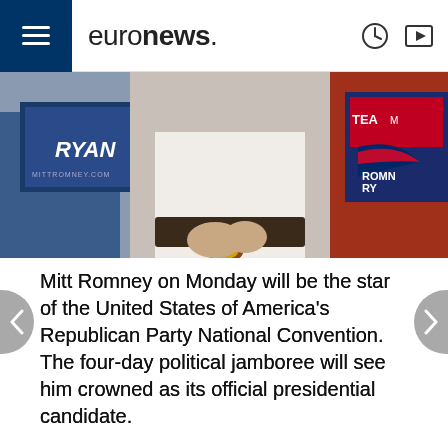euronews.
[Figure (photo): People holding Romney-Ryan campaign signs at a political rally. A man in a white shirt with a watch is visible in the center.]
Mitt Romney on Monday will be the star of the United States of America's Republican Party National Convention. The four-day political jamboree will see him crowned as its official presidential candidate.
The businessman and former Governor of Massachusetts' pick for vice president, if he wins the top job in elections this November, is Paul Ryan, 42-year-old congressman for the state of Wisconsin and current chairman of the Budget Committee in the House of Representatives.
This year's Convention in Tampa, Florida is expecting 50,000 Republican delegates, journalists, guests and